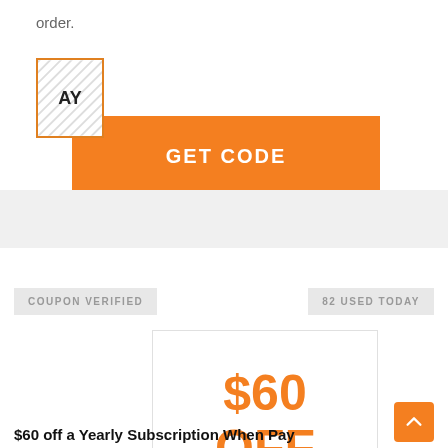order.
[Figure (other): Orange GET CODE button with hatched white box on right showing 'AY']
COUPON VERIFIED
82 USED TODAY
[Figure (other): White box with orange text '$60 OFF']
$60 off a Yearly Subscription When Pay